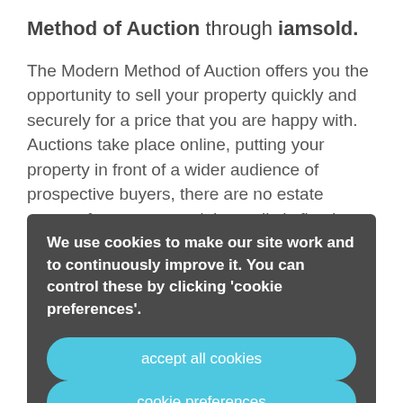Method of Auction through iamsold.
The Modern Method of Auction offers you the opportunity to sell your property quickly and securely for a price that you are happy with. Auctions take place online, putting your property in front of a wider audience of prospective buyers, there are no estate agency fees to pay and the realistic fixed-timescales see buyers exchange and complete on your property within 56 days. So, if y... i... b... t...
We use cookies to make our site work and to continuously improve it. You can control these by clicking 'cookie preferences'.
accept all cookies
cookie preferences